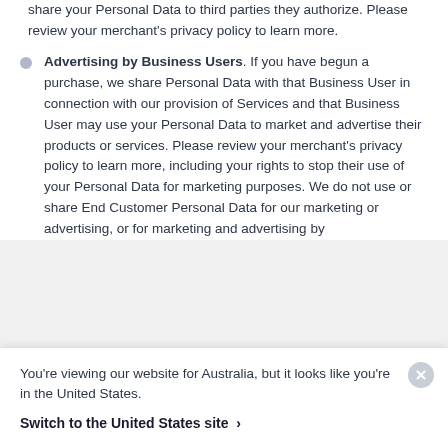share your Personal Data to third parties they authorize. Please review your merchant's privacy policy to learn more.
Advertising by Business Users. If you have begun a purchase, we share Personal Data with that Business User in connection with our provision of Services and that Business User may use your Personal Data to market and advertise their products or services. Please review your merchant's privacy policy to learn more, including your rights to stop their use of your Personal Data for marketing purposes. We do not use or share End Customer Personal Data for our marketing or advertising, or for marketing and advertising by
You're viewing our website for Australia, but it looks like you're in the United States.
Switch to the United States site ›